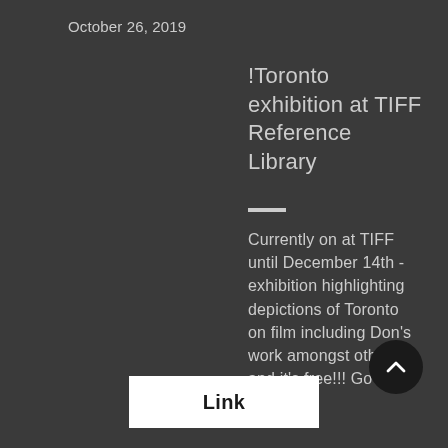October 26, 2019
!Toronto exhibition at TIFF Reference Library
Currently on at TIFF until December 14th - exhibition highlighting depictions of Toronto on film including Don’s work amongst others- and it’s free!!! Go ch out!
Link